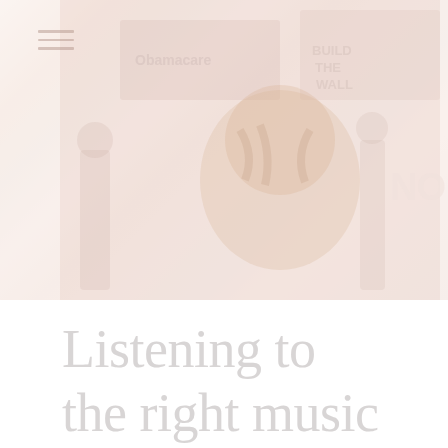[Figure (photo): Faded/washed-out photograph of what appears to be a crowd or protest scene with a tiger image visible in the center, signs/banners in background, very light pink-white tones]
Listening to the right music is as essential to some people's workouts as remembering to bring